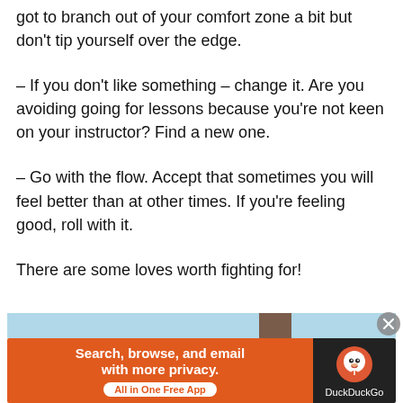got to branch out of your comfort zone a bit but don't tip yourself over the edge.
– If you don't like something – change it. Are you avoiding going for lessons because you're not keen on your instructor? Find a new one.
– Go with the flow. Accept that sometimes you will feel better than at other times. If you're feeling good, roll with it.
There are some loves worth fighting for!
[Figure (other): Advertisement banner: DuckDuckGo ad with orange background reading 'Search, browse, and email with more privacy. All in One Free App' and DuckDuckGo logo on dark background. Above is a light blue image strip with a brown element.]